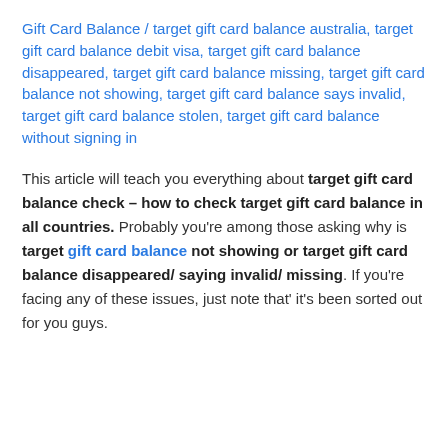Gift Card Balance / target gift card balance australia, target gift card balance debit visa, target gift card balance disappeared, target gift card balance missing, target gift card balance not showing, target gift card balance says invalid, target gift card balance stolen, target gift card balance without signing in
This article will teach you everything about target gift card balance check – how to check target gift card balance in all countries. Probably you're among those asking why is target gift card balance not showing or target gift card balance disappeared/ saying invalid/ missing. If you're facing any of these issues, just note that' it's been sorted out for you guys.